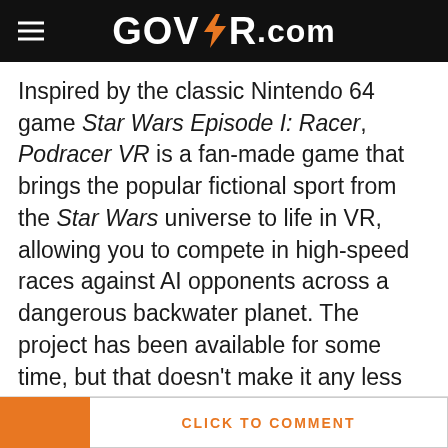GOVR.com
Inspired by the classic Nintendo 64 game Star Wars Episode I: Racer, Podracer VR is a fan-made game that brings the popular fictional sport from the Star Wars universe to life in VR, allowing you to compete in high-speed races against AI opponents across a dangerous backwater planet. The project has been available for some time, but that doesn't make it any less deserving of your attention.
Read More Here
RELATED TOPICS
CLICK TO COMMENT